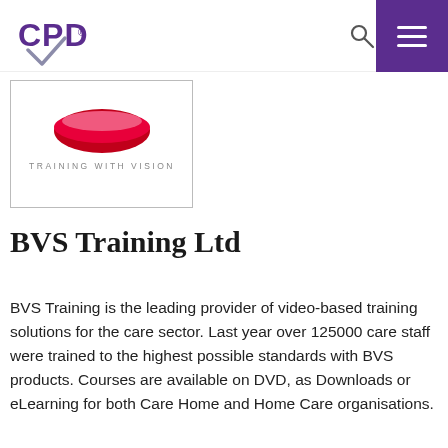[Figure (logo): CPD logo in top left of navigation bar — purple letters CPD with a checkmark]
[Figure (logo): BVS Training With Vision logo inside a bordered box — red graphic element above text TRAINING WITH VISION]
BVS Training Ltd
BVS Training is the leading provider of video-based training solutions for the care sector. Last year over 125000 care staff were trained to the highest possible standards with BVS products. Courses are available on DVD, as Downloads or eLearning for both Care Home and Home Care organisations.